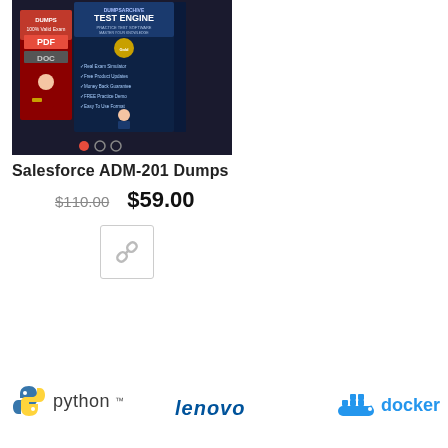[Figure (photo): Product image of DumpsArchive Test Engine book and PDF/DOC book bundle on dark background with carousel dots]
Salesforce ADM-201 Dumps
$110.00  $59.00
[Figure (illustration): Link/chain icon button in a bordered square box]
[Figure (logo): Python programming language logo with snake icon]
[Figure (logo): Lenovo logo in bold italic blue text]
[Figure (logo): Docker logo with whale icon in blue]